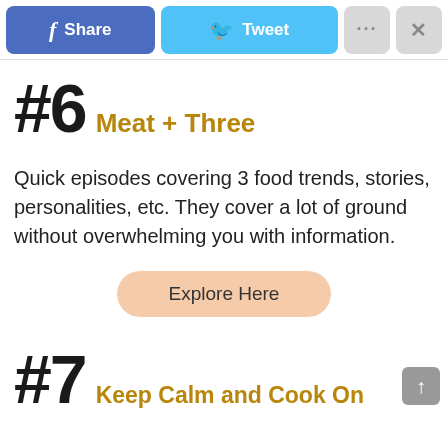[Figure (screenshot): Social sharing toolbar with Facebook Share button (blue), Twitter Tweet button (light blue), More options button (gray with ellipsis), and Close button (gray with X)]
#6 Meat + Three
Quick episodes covering 3 food trends, stories, personalities, etc. They cover a lot of ground without overwhelming you with information.
Explore Here
#7 Keep Calm and Cook On